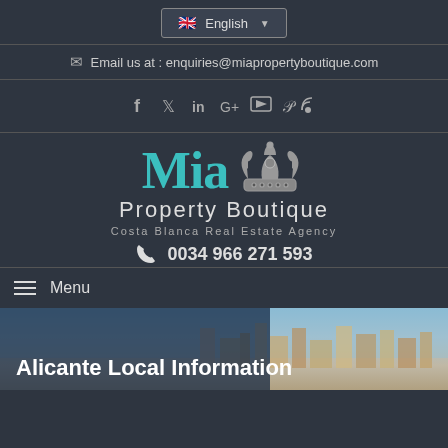English (language selector)
Email us at : enquiries@miapropertyboutique.com
[Figure (infographic): Social media icons: Facebook, Twitter, LinkedIn, Google+, YouTube, Pinterest, RSS]
[Figure (logo): Mia Property Boutique logo with crown icon, subtitle: Costa Blanca Real Estate Agency, phone: 0034 966 271 593]
Menu
Alicante Local Information